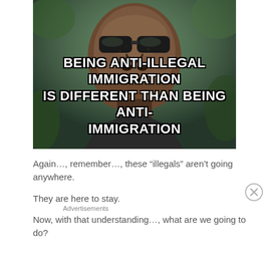[Figure (photo): Meme image showing a close-up of a man's face with sunglasses and serious expression, with bold white text overlaid reading: BEING ANTI-ILLEGAL IMMIGRATION IS DIFFERENT THAN BEING ANTI-IMMIGRATION]
Again…, remember…, these “illegals” aren’t going anywhere.
They are here to stay.
Now, with that understanding…, what are we going to do?
Advertisements